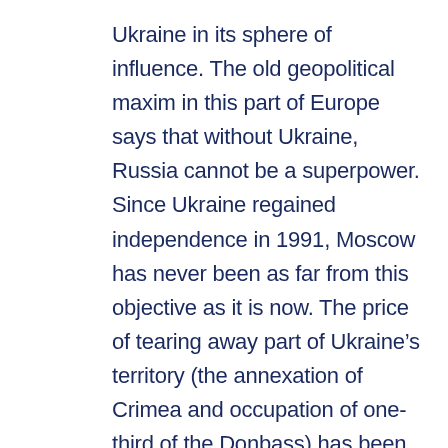Ukraine in its sphere of influence. The old geopolitical maxim in this part of Europe says that without Ukraine, Russia cannot be a superpower. Since Ukraine regained independence in 1991, Moscow has never been as far from this objective as it is now. The price of tearing away part of Ukraine’s territory (the annexation of Crimea and occupation of one-third of the Donbass) has been